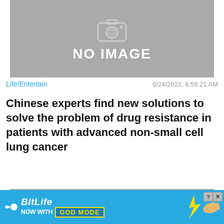[Figure (photo): Placeholder image box with camera icon and NO IMAGE text, gray background, partially visible at top]
Life/Entertain
6/24/2022, 6:58:21 AM
Chinese experts find new solutions to solve the problem of drug resistance in patients with advanced non-small cell lung cancer
[Figure (photo): Placeholder image box with camera icon and NO IMAGE text, gray background, second card partially visible]
Close X
[Figure (screenshot): BitLife advertisement banner: NOW WITH GOD MODE, blue background with hand/lightning graphic]